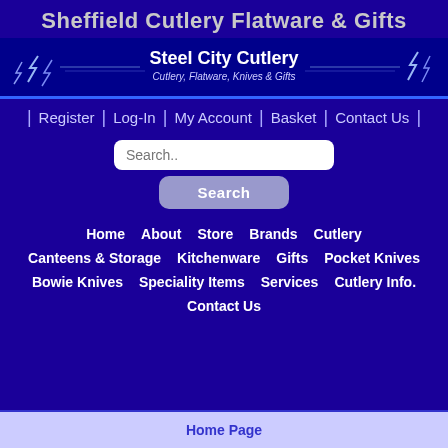Sheffield Cutlery Flatware & Gifts
[Figure (logo): Steel City Cutlery banner logo with lightning bolt decorations on dark blue background. Text reads 'Steel City Cutlery' and subtitle 'Cutlery, Flatware, Knives & Gifts']
Register | Log-In | My Account | Basket | Contact Us
Search..
Search
Home | About | Store | Brands | Cutlery
Canteens & Storage | Kitchenware | Gifts | Pocket Knives
Bowie Knives | Speciality Items | Services | Cutlery Info.
Contact Us
Home Page